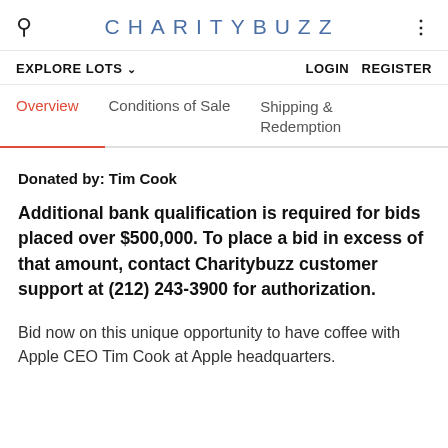CHARITYBUZZ
EXPLORE LOTS   LOGIN   REGISTER
Overview   Conditions of Sale   Shipping & Redemption
Donated by: Tim Cook
Additional bank qualification is required for bids placed over $500,000. To place a bid in excess of that amount, contact Charitybuzz customer support at (212) 243-3900 for authorization.
Bid now on this unique opportunity to have coffee with Apple CEO Tim Cook at Apple headquarters.